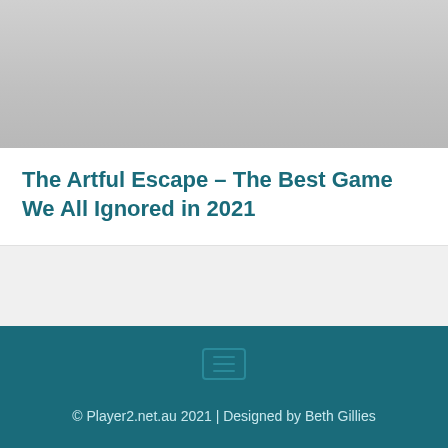[Figure (photo): Gray gradient image area at the top of the page]
The Artful Escape – The Best Game We All Ignored in 2021
[Figure (other): Footer icon with three horizontal lines inside a rounded rectangle border]
© Player2.net.au 2021 | Designed by Beth Gillies